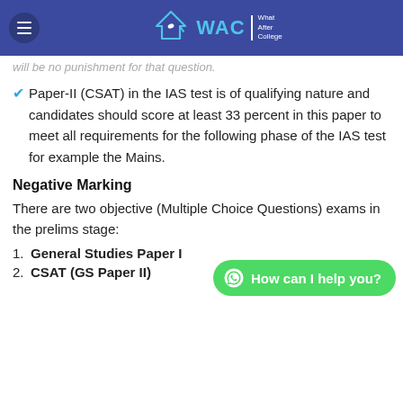WAC | What After College
will be no punishment for that question.
Paper-II (CSAT) in the IAS test is of qualifying nature and candidates should score at least 33 percent in this paper to meet all requirements for the following phase of the IAS test for example the Mains.
Negative Marking
There are two objective (Multiple Choice Questions) exams in the prelims stage:
General Studies Paper I
CSAT (GS Paper II)